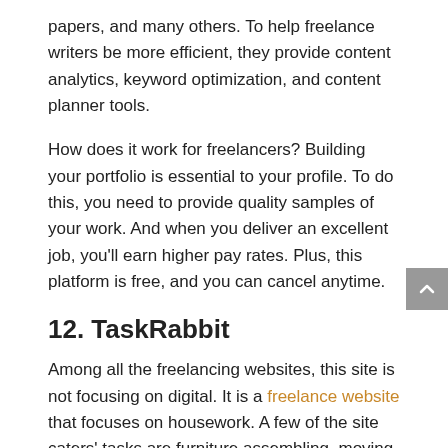papers, and many others. To help freelance writers be more efficient, they provide content analytics, keyword optimization, and content planner tools.
How does it work for freelancers? Building your portfolio is essential to your profile. To do this, you need to provide quality samples of your work. And when you deliver an excellent job, you'll earn higher pay rates. Plus, this platform is free, and you can cancel anytime.
12. TaskRabbit
Among all the freelancing websites, this site is not focusing on digital. It is a freelance website that focuses on housework. A few of the site caters' tasks are furniture assembling, moving and packing, plumbing, etc. To get started, you will need to:
Sign up
Build your portfolio